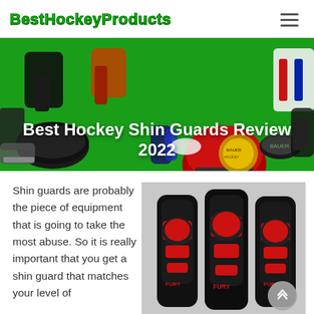BestHockeyProducts
[Figure (photo): Hero banner with hockey equipment items (helmet, pads, pucks, shin guards, sticks) on a green background, with large white bold text overlay reading 'Best Hockey Shin Guards Review 2022']
Best Hockey Shin Guards Review 2022
Shin guards are probably the piece of equipment that is going to take the most abuse. So it is really important that you get a shin guard that matches your level of
[Figure (photo): Three black and red hockey shin guards standing upright against a light grey background, branded 'FURY']